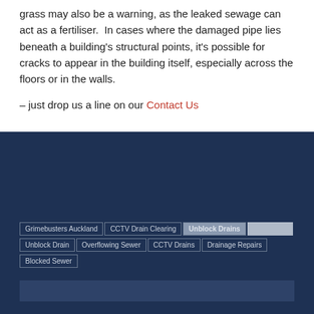grass may also be a warning, as the leaked sewage can act as a fertiliser. In cases where the damaged pipe lies beneath a building's structural points, it's possible for cracks to appear in the building itself, especially across the floors or in the walls.
– just drop us a line on our Contact Us
Grimebusters Auckland | CCTV Drain Clearing | Unblock Drains | Unblock Drain | Overflowing Sewer | CCTV Drains | Drainage Repairs | Blocked Sewer